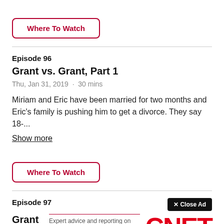Where To Watch
Episode 96
Grant vs. Grant, Part 1
Thu, Jan 31, 2019 · 30 mins
Miriam and Eric have been married for two months and Eric's family is pushing him to get a divorce. They say 18-...
Show more
Where To Watch
Episode 97
Grant v
Fri, Feb
Close Ad
Expert advice and reporting on money, culture, wellness, and tech you can put to good use.
CNET